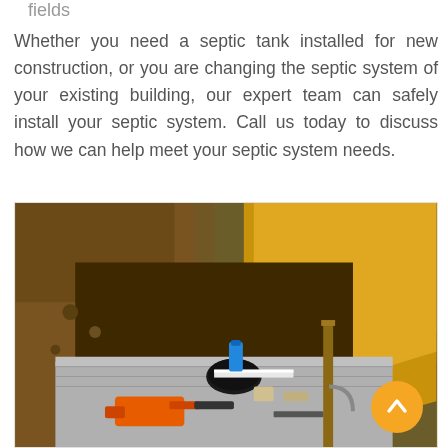fields
Whether you need a septic tank installed for new construction, or you are changing the septic system of your existing building, our expert team can safely install your septic system. Call us today to discuss how we can help meet your septic system needs.
[Figure (photo): A septic tank installation in progress: an excavated pit with yellow and brown earth walls, a concrete septic tank lid at the bottom with an open manhole, PVC pipes, tools including an orange chainsaw, a blue spray paint can, and a wooden stake. Construction/excavation site.]